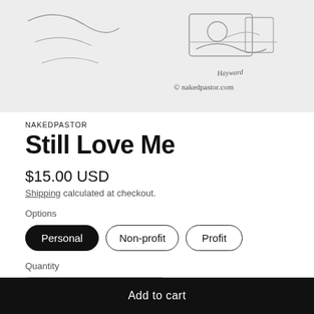[Figure (illustration): Sketch illustration of a cartoon character, with handwritten signature and copyright text '© nakedpastor.com' at bottom right]
NAKEDPASTOR
Still Love Me
$15.00 USD
Shipping calculated at checkout.
Options
Personal
Non-profit
Profit
Quantity
1
Add to cart